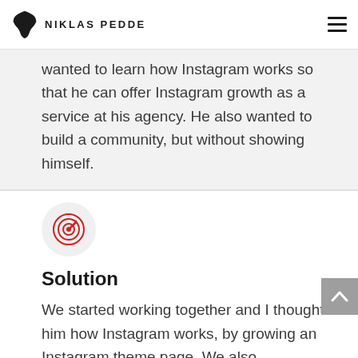NIKLAS PEDDE
wanted to learn how Instagram works so that he can offer Instagram growth as a service at his agency. He also wanted to build a community, but without showing himself.
[Figure (illustration): Circular target/bullseye icon in red on a light gray circular background]
Solution
We started working together and I thought him how Instagram works, by growing an Instagram theme page. We also developed an undercover personal brand so that he can build a community without showing himself.